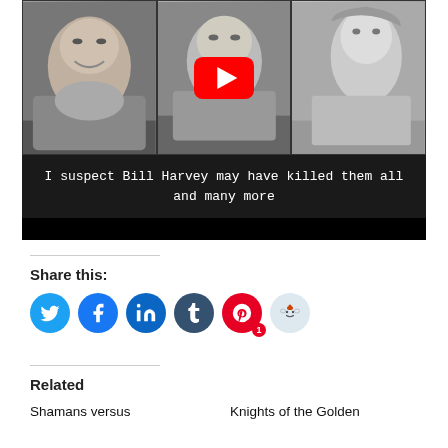[Figure (screenshot): YouTube video thumbnail showing three black-and-white portrait photos side by side with a YouTube play button overlay. Caption text reads: 'I suspect Bill Harvey may have killed them all and many more']
Share this:
[Figure (infographic): Row of social share buttons: Twitter (blue), Facebook (blue), LinkedIn (blue), Tumblr (dark blue), Pinterest (red, with badge '1'), Reddit (light blue)]
Related
Shamans versus
Knights of the Golden